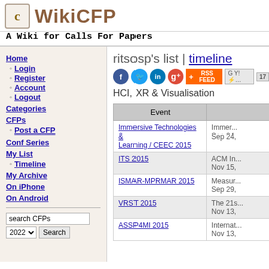[Figure (logo): WikiCFP logo with document icon and stylized text]
A Wiki for Calls For Papers
Home
Login
Register
Account
Logout
Categories
CFPs
Post a CFP
Conf Series
My List
Timeline
My Archive
On iPhone
On Android
ritsosp's list | timeline
HCI, XR & Visualisation
| Event |  |
| --- | --- |
| Immersive Technologies & Learning / CEEC 2015 | Immer...
Sep 24, |
| ITS 2015 | ACM In...
Nov 15, |
| ISMAR-MPRMAR 2015 | Measur...
Sep 29, |
| VRST 2015 | The 21s...
Nov 13, |
| ASSP4MI 2015 | Internat...
Nov 13, |